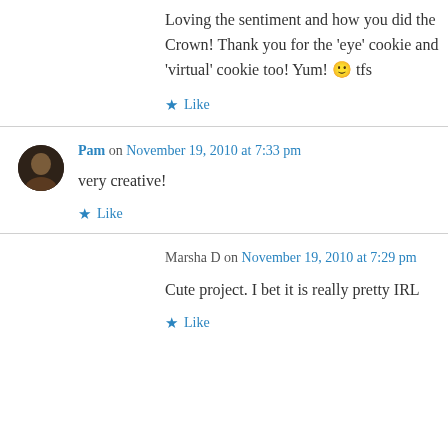Loving the sentiment and how you did the Crown! Thank you for the 'eye' cookie and 'virtual' cookie too! Yum! 🙂 tfs
★ Like
Pam on November 19, 2010 at 7:33 pm
very creative!
★ Like
Marsha D on November 19, 2010 at 7:29 pm
Cute project. I bet it is really pretty IRL
★ Like